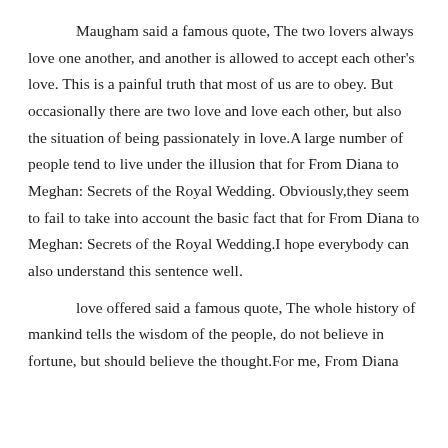Maugham said a famous quote, The two lovers always love one another, and another is allowed to accept each other's love. This is a painful truth that most of us are to obey. But occasionally there are two love and love each other, but also the situation of being passionately in love.A large number of people tend to live under the illusion that for From Diana to Meghan: Secrets of the Royal Wedding. Obviously,they seem to fail to take into account the basic fact that for From Diana to Meghan: Secrets of the Royal Wedding.I hope everybody can also understand this sentence well.
love offered said a famous quote, The whole history of mankind tells the wisdom of the people, do not believe in fortune, but should believe the thought.For me, From Diana